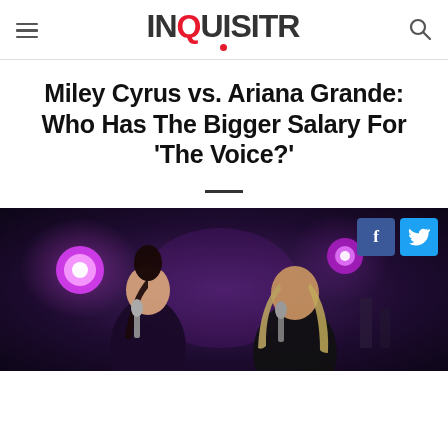INQUISITR
Miley Cyrus vs. Ariana Grande: Who Has The Bigger Salary For 'The Voice?'
[Figure (photo): Two young women singing on stage with microphones, performing together against a purple-lit concert background. Social media share buttons (Facebook and Twitter) visible in top right corner.]